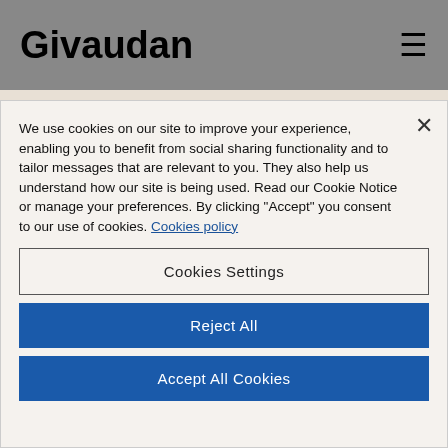Givaudan
We use cookies on our site to improve your experience, enabling you to benefit from social sharing functionality and to tailor messages that are relevant to you. They also help us understand how our site is being used. Read our Cookie Notice or manage your preferences. By clicking "Accept" you consent to our use of cookies. Cookies policy
Cookies Settings
Reject All
Accept All Cookies
Givaudan announces changes to Executive Committee